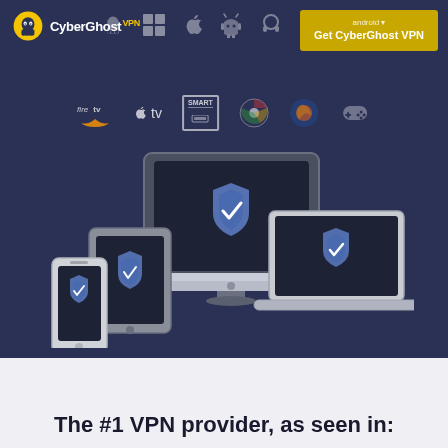[Figure (screenshot): CyberGhost VPN website screenshot showing logo, navigation bar with 'Get CyberGhost VPN' button, platform compatibility icons (Fire TV, Apple TV, Smart TV, Chrome, Firefox, gaming controller, plus top row icons for various OS), and an illustration of multiple devices (desktop monitor, tablet, phone, laptop) all displaying the CyberGhost VPN shield logo. Below is white/light gray section with heading text.]
The #1 VPN provider, as seen in: